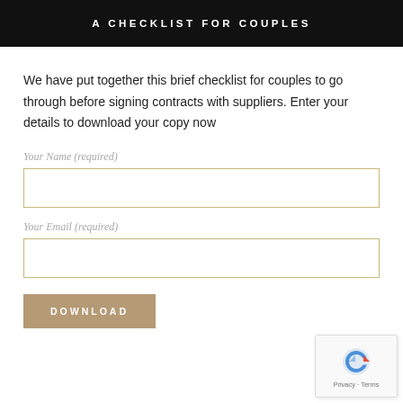A CHECKLIST FOR COUPLES
We have put together this brief checklist for couples to go through before signing contracts with suppliers. Enter your details to download your copy now
Your Name (required)
Your Email (required)
DOWNLOAD